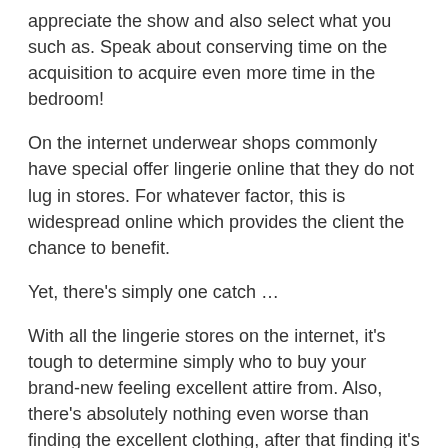appreciate the show and also select what you such as. Speak about conserving time on the acquisition to acquire even more time in the bedroom!
On the internet underwear shops commonly have special offer lingerie online that they do not lug in stores. For whatever factor, this is widespread online which provides the client the chance to benefit.
Yet, there's simply one catch …
With all the lingerie stores on the internet, it's tough to determine simply who to buy your brand-new feeling excellent attire from. Also, there's absolutely nothing even worse than finding the excellent clothing, after that finding it's mosting likely to show up 1 week behind the evening you prepared to introduce it. There's also the quality worry. No one desires lingerie that's mosting likely to reveal you too soon. A little split can be an unwelcome surprise as the passion unravels yet rest simple, there are many high